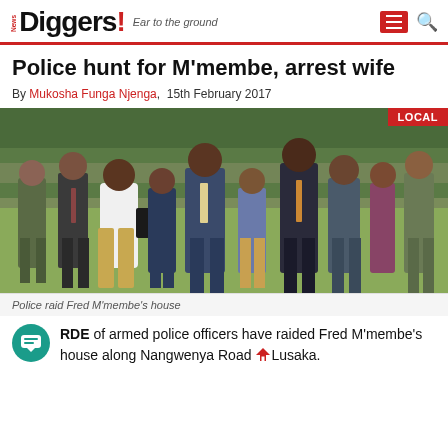News Diggers! Ear to the ground
Police hunt for M'membe, arrest wife
By Mukosha Funga Njenga, 15th February 2017
[Figure (photo): Group of people, including police officers in uniform and civilians in suits, standing on a lawn outside a house. A woman in a white off-shoulder top and beige trousers is prominent in the center. Badge reading LOCAL in top right corner.]
Police raid Fred M'membe's house
ORDE of armed police officers have raided Fred M'membe's house along Nangwenya Road in Lusaka.